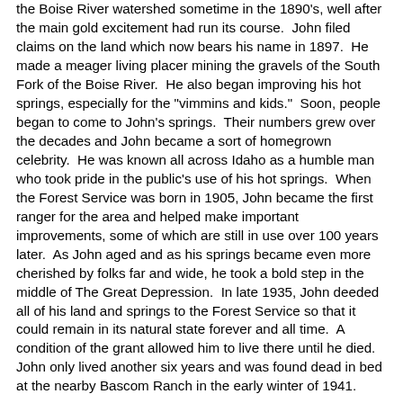the Boise River watershed sometime in the 1890's, well after the main gold excitement had run its course. John filed claims on the land which now bears his name in 1897. He made a meager living placer mining the gravels of the South Fork of the Boise River. He also began improving his hot springs, especially for the "vimmins and kids." Soon, people began to come to John's springs. Their numbers grew over the decades and John became a sort of homegrown celebrity. He was known all across Idaho as a humble man who took pride in the public's use of his hot springs. When the Forest Service was born in 1905, John became the first ranger for the area and helped make important improvements, some of which are still in use over 100 years later. As John aged and as his springs became even more cherished by folks far and wide, he took a bold step in the middle of The Great Depression. In late 1935, John deeded all of his land and springs to the Forest Service so that it could remain in its natural state forever and all time. A condition of the grant allowed him to live there until he died. John only lived another six years and was found dead in bed at the nearby Bascom Ranch in the early winter of 1941.